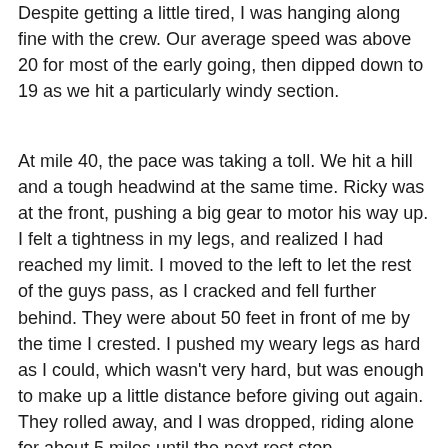Despite getting a little tired, I was hanging along fine with the crew. Our average speed was above 20 for most of the early going, then dipped down to 19 as we hit a particularly windy section.
At mile 40, the pace was taking a toll. We hit a hill and a tough headwind at the same time. Ricky was at the front, pushing a big gear to motor his way up. I felt a tightness in my legs, and realized I had reached my limit. I moved to the left to let the rest of the guys pass, as I cracked and fell further behind. They were about 50 feet in front of me by the time I crested. I pushed my weary legs as hard as I could, which wasn't very hard, but was enough to make up a little distance before giving out again. They rolled away, and I was dropped, riding alone for about 5 miles until the next rest stop.